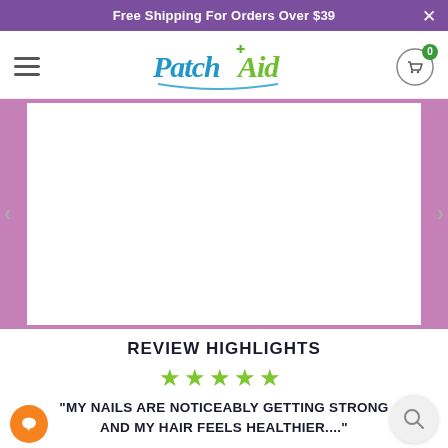Free Shipping For Orders Over $39
[Figure (logo): PatchAid logo with colorful script text in blue and green]
[Figure (photo): Product image slider area with purple side borders and white center panel, left and right navigation arrows]
REVIEW HIGHLIGHTS
[Figure (other): Five green star rating icons]
"MY NAILS ARE NOTICEABLY GETTING STRONG AND MY HAIR FEELS HEALTHIER...."